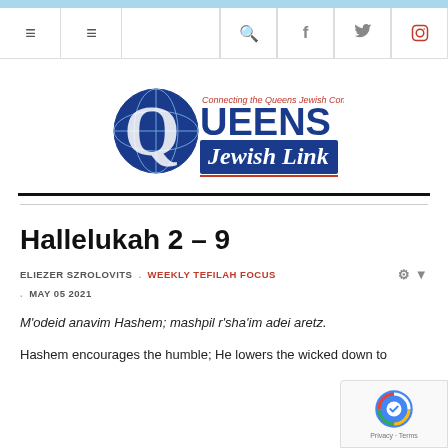[Figure (logo): Queens Jewish Link logo with globe icon and tagline 'Connecting the Queens Jewish Community']
Hallelukah 2 – 9
ELIEZER SZROLOVITS . WEEKLY TEFILAH FOCUS . MAY 05 2021
M'odeid anavim Hashem; mashpil r'sha'im adei aretz.
Hashem encourages the humble; He lowers the wicked down to